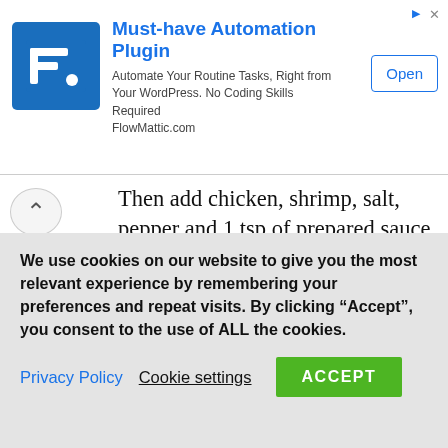[Figure (screenshot): Advertisement banner for FlowMattic automation plugin with logo, title, description and Open button]
Then add chicken, shrimp, salt, pepper and 1 tsp of prepared sauce. Then saute until meat is fully cooked. Set aside the cooked contents into a separate bowl.
[Figure (photo): Photo of cooked ground chicken or shrimp in a dark frying pan]
We use cookies on our website to give you the most relevant experience by remembering your preferences and repeat visits. By clicking “Accept”, you consent to the use of ALL the cookies.
Privacy Policy  Cookie settings  ACCEPT